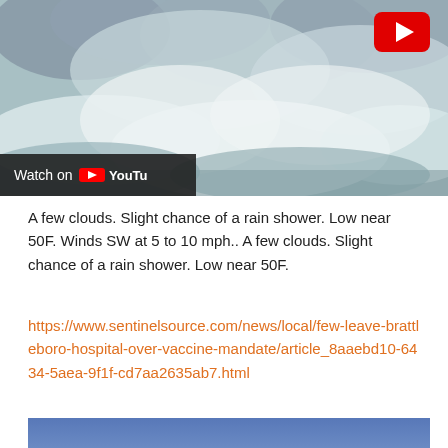[Figure (screenshot): YouTube video thumbnail showing stormy ocean waves with white foam and mist. A red YouTube play button icon is visible in the top right corner. A 'Watch on YouTube' bar with the YouTube logo appears at the bottom left of the thumbnail.]
A few clouds. Slight chance of a rain shower. Low near 50F. Winds SW at 5 to 10 mph.. A few clouds. Slight chance of a rain shower. Low near 50F.
https://www.sentinelsource.com/news/local/few-leave-brattleboro-hospital-over-vaccine-mandate/article_8aaebd10-6434-5aea-9f1f-cd7aa2635ab7.html
[Figure (screenshot): Partial view of a movie or TV show title card with stylized yellow script text reading 'la guerre' on a blue sky background.]